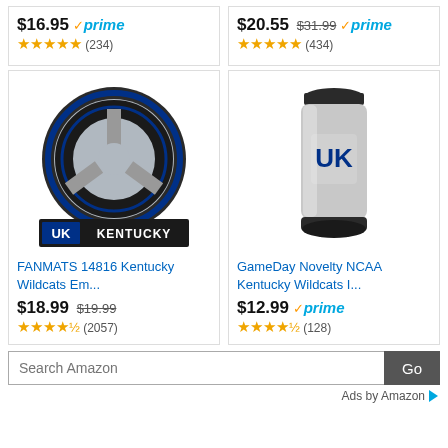$16.95 prime (234)
$20.55 $31.99 prime (434)
[Figure (photo): Kentucky Wildcats steering wheel cover with UK logo]
FANMATS 14816 Kentucky Wildcats Em...
$18.99 $19.99 (2057)
[Figure (photo): GameDay Novelty NCAA Kentucky Wildcats insulated tumbler with UK logo]
GameDay Novelty NCAA Kentucky Wildcats I...
$12.99 prime (128)
Search Amazon
Ads by Amazon